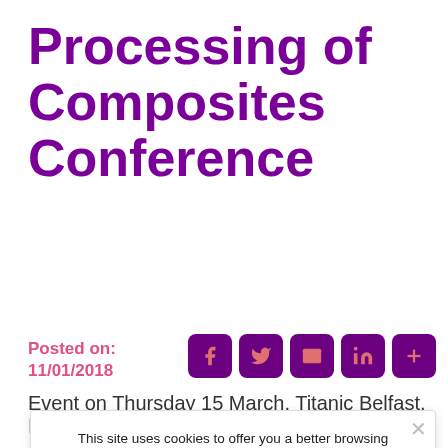Processing of Composites Conference
Posted on: 11/01/2018
[Figure (other): Social media sharing icons: Facebook, Twitter, Email, LinkedIn, More]
Event on Thursday 15 March, Titanic Belfast, Belfast
This site uses cookies to offer you a better browsing experience. Find out more on how we use your personal information in our Privacy Policy.
I understand
Out-of-Autoclave (OOA) processing of composites